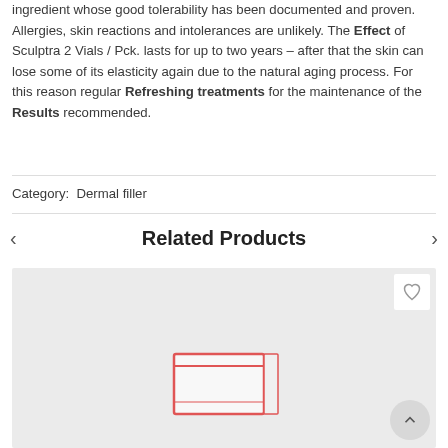ingredient whose good tolerability has been documented and proven. Allergies, skin reactions and intolerances are unlikely. The Effect of Sculptra 2 Vials / Pck. lasts for up to two years – after that the skin can lose some of its elasticity again due to the natural aging process. For this reason regular Refreshing treatments for the maintenance of the Results recommended.
Category:  Dermal filler
Related Products
[Figure (photo): Product card showing a pharmaceutical product box (Sculptra or similar dermal filler) on a light gray background, with a wishlist heart icon button in the top right and a scroll-to-top button at the bottom right.]